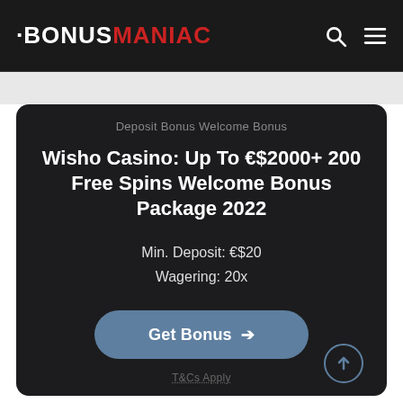BONUSMANIAC
Deposit Bonus Welcome Bonus
Wisho Casino: Up To €$2000+ 200 Free Spins Welcome Bonus Package 2022
Min. Deposit: €$20
Wagering: 20x
Get Bonus →
T&Cs Apply